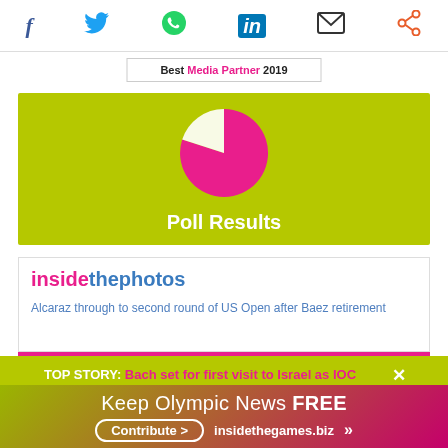[Figure (other): Social media icons row: Facebook (blue f), Twitter (blue bird), WhatsApp (green phone), LinkedIn (blue in), Email (envelope), Share (orange icon)]
Best Media Partner 2019
[Figure (pie-chart): Pie chart with large pink/magenta slice (~80%) and small white slice (~20%) on green background, labeled Poll Results]
[Figure (other): insidethephotos logo in pink and blue bold text]
Alcaraz through to second round of US Open after Baez retirement
TOP STORY: Bach set for first visit to Israel as IOC President for Munich Massacre commemoration
Keep Olympic News FREE Contribute > insidethegames.biz >>